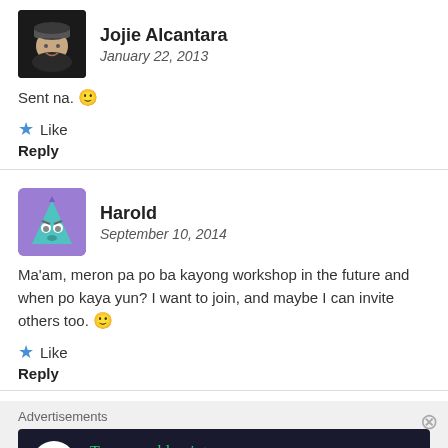[Figure (photo): Avatar photo of Jojie Alcantara, a person wearing a beanie hat, dark background]
Jojie Alcantara
January 22, 2013
Sent na. 🙂
Like
Reply
[Figure (illustration): Avatar of Harold, a cartoon triangle character with eyes and a face, purple/teal gradient background]
Harold
September 10, 2014
Ma'am, meron pa po ba kayong workshop in the future and when po kaya yun? I want to join, and maybe I can invite others too. 🙂
Like
Reply
Advertisements
[Figure (infographic): Dark advertisement banner: Turn your blog into a money-making online course. with arrow]